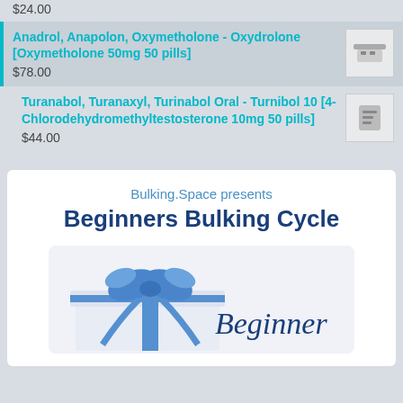$24.00
Anadrol, Anapolon, Oxymetholone - Oxydrolone [Oxymetholone 50mg 50 pills]
$78.00
Turanabol, Turanaxyl, Turinabol Oral - Turnibol 10 [4-Chlorodehydromethyltestosterone 10mg 50 pills]
$44.00
Bulking.Space presents Beginners Bulking Cycle
[Figure (illustration): Gift box with blue ribbon bow, and cursive text 'Beginner' on a card-like background]